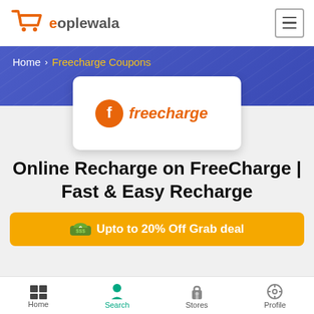eoplewala — hamburger menu
Home > Freecharge Coupons
[Figure (logo): Freecharge logo: orange circle with white F icon and orange italic 'freecharge' text]
Online Recharge on FreeCharge | Fast & Easy Recharge
💵 Upto to 20% Off Grab deal
Home  Search  Stores  Profile